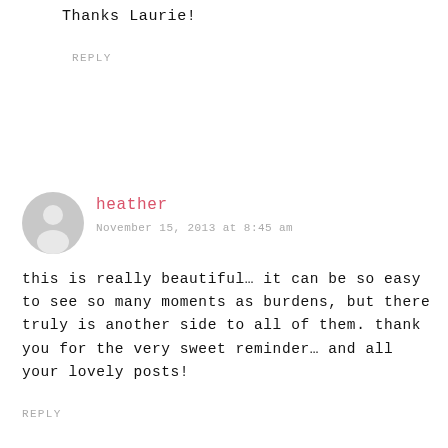Thanks Laurie!
REPLY
[Figure (illustration): Generic user avatar icon — grey circle with a silhouette of a person]
heather
November 15, 2013 at 8:45 am
this is really beautiful… it can be so easy to see so many moments as burdens, but there truly is another side to all of them. thank you for the very sweet reminder… and all your lovely posts!
REPLY